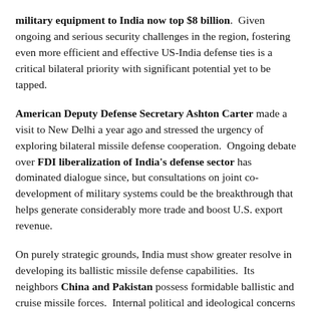military equipment to India now top $8 billion. Given ongoing and serious security challenges in the region, fostering even more efficient and effective US-India defense ties is a critical bilateral priority with significant potential yet to be tapped.
American Deputy Defense Secretary Ashton Carter made a visit to New Delhi a year ago and stressed the urgency of exploring bilateral missile defense cooperation. Ongoing debate over FDI liberalization of India's defense sector has dominated dialogue since, but consultations on joint co-development of military systems could be the breakthrough that helps generate considerably more trade and boost U.S. export revenue.
On purely strategic grounds, India must show greater resolve in developing its ballistic missile defense capabilities. Its neighbors China and Pakistan possess formidable ballistic and cruise missile forces. Internal political and ideological concerns within the government over becoming more